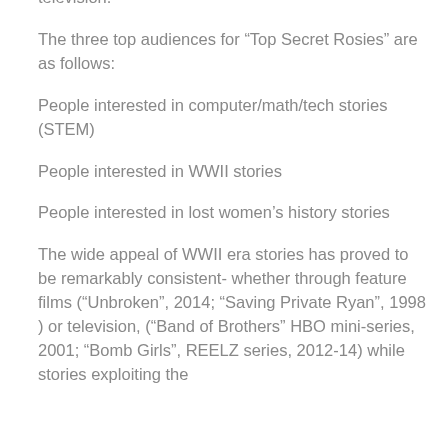focused programming available through cable television.
The three top audiences for “Top Secret Rosies” are as follows:
People interested in computer/math/tech stories (STEM)
People interested in WWII stories
People interested in lost women’s history stories
The wide appeal of WWII era stories has proved to be remarkably consistent- whether through feature films (“Unbroken”, 2014; “Saving Private Ryan”, 1998 ) or television, (“Band of Brothers” HBO mini-series, 2001; “Bomb Girls”, REELZ series, 2012-14) while stories exploiting the